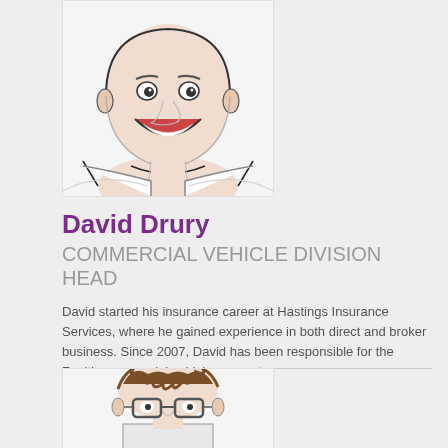[Figure (illustration): Cartoon/caricature illustration of David Drury, a smiling bald man in a white shirt, drawn in black ink with light skin tone coloring]
David Drury
COMMERCIAL VEHICLE DIVISION HEAD
David started his insurance career at Hastings Insurance Services, where he gained experience in both direct and broker business. Since 2007, David has been responsible for the Zenith commercial vehicle account.
[Figure (illustration): Cartoon/caricature illustration of a second person with spiky brown hair and glasses, partially visible at the bottom of the page]